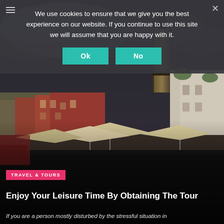[Figure (photo): Photograph of a European town square with colorful historic buildings, a prominent clock tower, outdoor cafe umbrellas, and dramatic cloudy sky at dusk]
We use cookies to ensure that we give you the best experience on our website. If you continue to use this site we will assume that you are happy with it.
Ok   No
TRAVEL & TOURS
Enjoy Your Leisure Time By Obtaining The Tour
If you are a person mostly disturbed by the stressful situation in